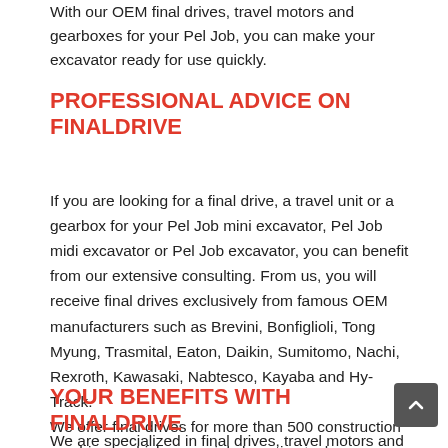With our OEM final drives, travel motors and gearboxes for your Pel Job, you can make your excavator ready for use quickly.
PROFESSIONAL ADVICE ON FINALDRIVE
If you are looking for a final drive, a travel unit or a gearbox for your Pel Job mini excavator, Pel Job midi excavator or Pel Job excavator, you can benefit from our extensive consulting. From us, you will receive final drives exclusively from famous OEM manufacturers such as Brevini, Bonfiglioli, Tong Myung, Trasmital, Eaton, Daikin, Sumitomo, Nachi, Rexroth, Kawasaki, Nabtesco, Kayaba and Hy-Track.
We offer final drives for more than 500 construction machines, which we mainly keep in stock.
YOUR BENEFITS WITH FINALDRIVE
We are specialized in final drives, travel motors and gearboxes for